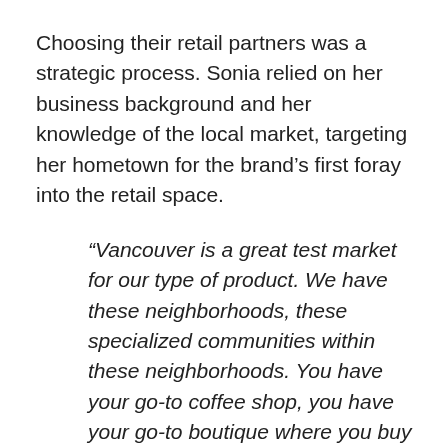Choosing their retail partners was a strategic process. Sonia relied on her business background and her knowledge of the local market, targeting her hometown for the brand's first foray into the retail space.
“Vancouver is a great test market for our type of product. We have these neighborhoods, these specialized communities within these neighborhoods. You have your go-to coffee shop, you have your go-to boutique where you buy your gifts. So, I was able to really identify in our city: what were these neighborhoods? What